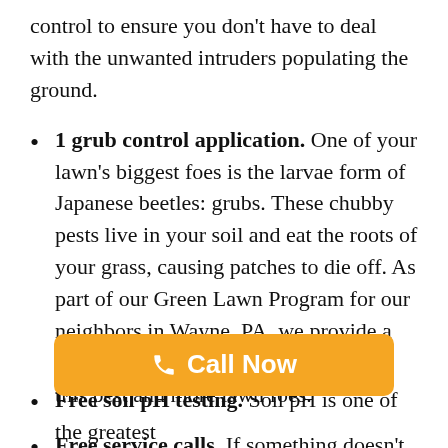control to ensure you don't have to deal with the unwanted intruders populating the ground.
1 grub control application. One of your lawn's biggest foes is the larvae form of Japanese beetles: grubs. These chubby pests live in your soil and eat the roots of your grass, causing patches to die off. As part of our Green Lawn Program for our neighbors in Wayne, PA, we provide a grub control application that addresses this pest and more lawn foes.
Free service calls. If something doesn't look right, give us a call! Whether there's a patch that doesn't look as healthy as others or you're noticing weeds popping [covered] lawn has that lus[covered]
Free soil pH testing. Soil pH is one of the greatest...